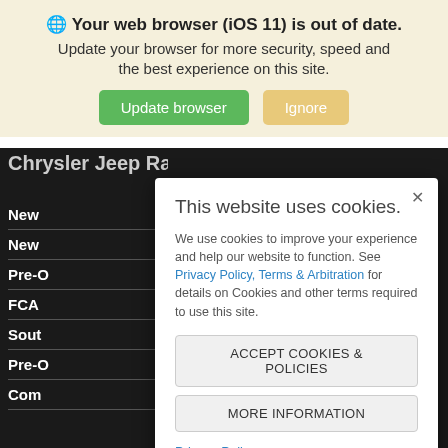🌐 Your web browser (iOS 11) is out of date. Update your browser for more security, speed and the best experience on this site.
Update browser | Ignore
Chrysler Jeep Ram FIA
New
New
Pre-O
FCA
Sout
Pre-O
Com
This website uses cookies.
We use cookies to improve your experience and help our website to function. See Privacy Policy, Terms & Arbitration for details on Cookies and other terms required to use this site.
ACCEPT COOKIES & POLICIES
MORE INFORMATION
Privacy Policy